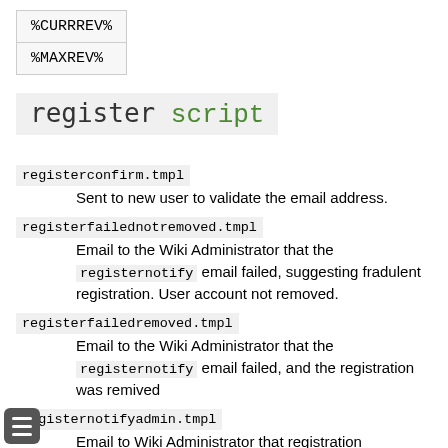| %CURRREV% |
| %MAXREV% |
register script
registerconfirm.tmpl
Sent to new user to validate the email address.
registerfailednotremoved.tmpl
Email to the Wiki Administrator that the registernotify email failed, suggesting fradulent registration. User account not removed.
registerfailedremoved.tmpl
Email to the Wiki Administrator that the registernotify email failed, and the registration was remived
registernotifyadmin.tmpl
Email to Wiki Administrator that registration completed successfully
registernotify.tmpl
Email to new user that registration completed